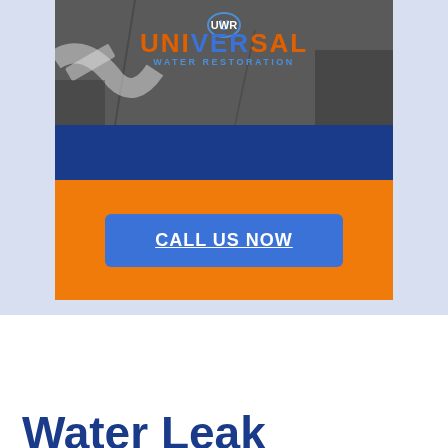[Figure (logo): Universal Water Restoration logo overlaid on a cracked asphalt/pavement background photo. Logo has UWR icon with blue and orange coloring, text reads UNIVERSAL in large orange letters and WATER RESTORATION below in smaller blue letters.]
CALL US NOW
Water Leak